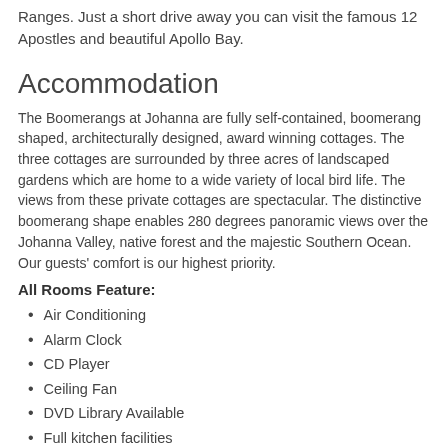Ranges. Just a short drive away you can visit the famous 12 Apostles and beautiful Apollo Bay.
Accommodation
The Boomerangs at Johanna are fully self-contained, boomerang shaped, architecturally designed, award winning cottages. The three cottages are surrounded by three acres of landscaped gardens which are home to a wide variety of local bird life. The views from these private cottages are spectacular. The distinctive boomerang shape enables 280 degrees panoramic views over the Johanna Valley, native forest and the majestic Southern Ocean. Our guests' comfort is our highest priority.
All Rooms Feature:
Air Conditioning
Alarm Clock
CD Player
Ceiling Fan
DVD Library Available
Full kitchen facilities